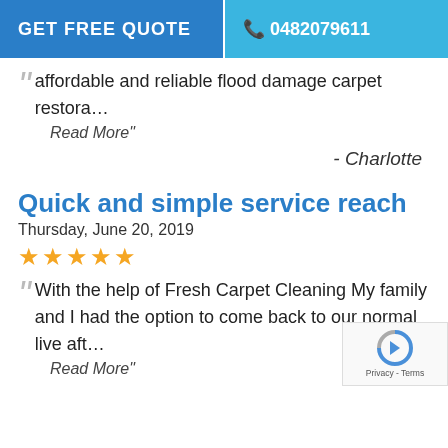GET FREE QUOTE   0482079611
affordable and reliable flood damage carpet restora…
Read More"
- Charlotte
Quick and simple service reach
Thursday, June 20, 2019
★★★★★
With the help of Fresh Carpet Cleaning My family and I had the option to come back to our normal live aft…
Read More"